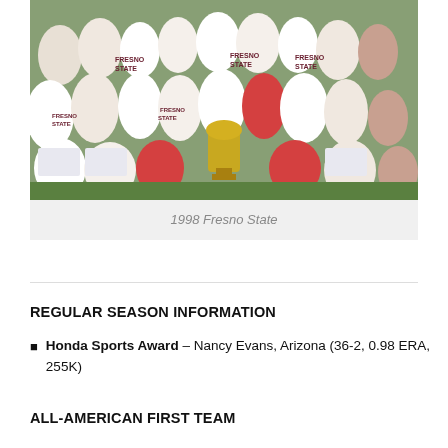[Figure (photo): Group team photo of the 1998 Fresno State softball team celebrating with a championship trophy. Players are wearing white Fresno State jerseys and holding up number-one fingers.]
1998 Fresno State
REGULAR SEASON INFORMATION
Honda Sports Award – Nancy Evans, Arizona (36-2, 0.98 ERA, 255K)
ALL-AMERICAN FIRST TEAM